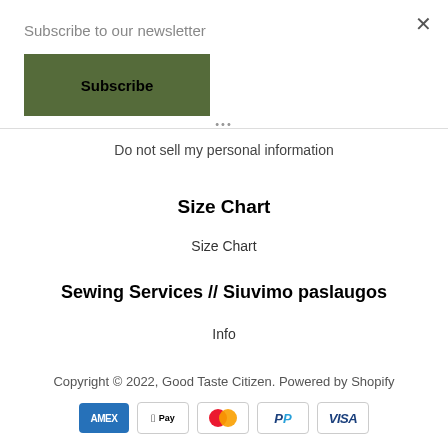Subscribe to our newsletter
Subscribe
Do not sell my personal information
Size Chart
Size Chart
Sewing Services // Siuvimo paslaugos
Info
Copyright © 2022, Good Taste Citizen. Powered by Shopify